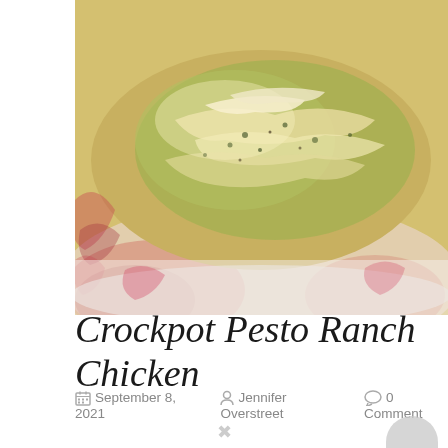[Figure (photo): Close-up food photo of crockpot pesto ranch chicken on a decorative red and white patterned plate, showing shredded chicken with green pesto coating and cheese]
Crockpot Pesto Ranch Chicken
September 8, 2021   Jennifer Overstreet   0 Comment